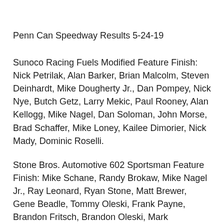Penn Can Speedway Results 5-24-19
Sunoco Racing Fuels Modified Feature Finish: Nick Petrilak, Alan Barker, Brian Malcolm, Steven Deinhardt, Mike Dougherty Jr., Dan Pompey, Nick Nye, Butch Getz, Larry Mekic, Paul Rooney, Alan Kellogg, Mike Nagel, Dan Soloman, John Morse, Brad Schaffer, Mike Loney, Kailee Dimorier, Nick Mady, Dominic Roselli.
Stone Bros. Automotive 602 Sportsman Feature Finish: Mike Schane, Randy Brokaw, Mike Nagel Jr., Ray Leonard, Ryan Stone, Matt Brewer, Gene Beadle, Tommy Oleski, Frank Payne, Brandon Fritsch, Brandon Oleski, Mark Longstreet, Jim O’Hara, Harold Heskell.